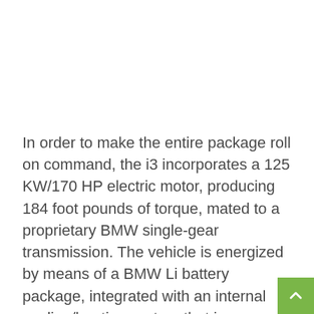In order to make the entire package roll on command, the i3 incorporates a 125 KW/170 HP electric motor, producing 184 foot pounds of torque, mated to a proprietary BMW single-gear transmission. The vehicle is energized by means of a BMW Li battery package, integrated with an internal cooling/heating system that insures that the system continually maintains